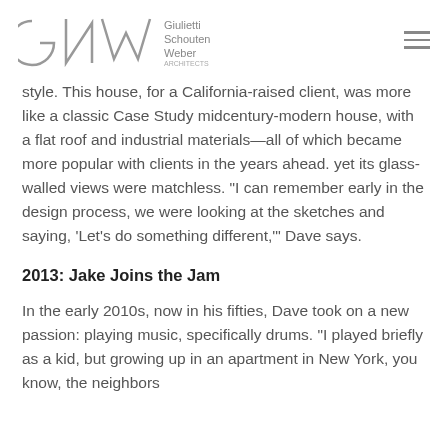Giulietti Schouten Weber Architects
style. This house, for a California-raised client, was more like a classic Case Study midcentury-modern house, with a flat roof and industrial materials—all of which became more popular with clients in the years ahead. yet its glass-walled views were matchless. "I can remember early in the design process, we were looking at the sketches and saying, 'Let's do something different,'" Dave says.
2013: Jake Joins the Jam
In the early 2010s, now in his fifties, Dave took on a new passion: playing music, specifically drums. "I played briefly as a kid, but growing up in an apartment in New York, you know, the neighbors